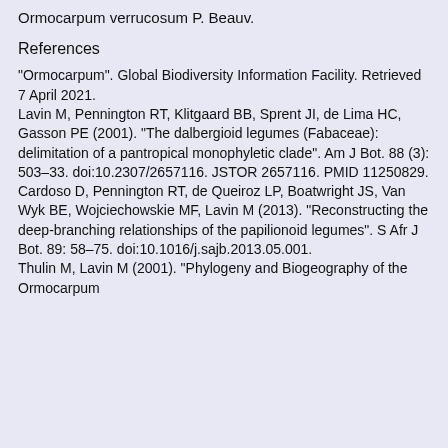Ormocarpum verrucosum P. Beauv.
References
"Ormocarpum". Global Biodiversity Information Facility. Retrieved 7 April 2021.
Lavin M, Pennington RT, Klitgaard BB, Sprent JI, de Lima HC, Gasson PE (2001). "The dalbergioid legumes (Fabaceae): delimitation of a pantropical monophyletic clade". Am J Bot. 88 (3): 503–33. doi:10.2307/2657116. JSTOR 2657116. PMID 11250829.
Cardoso D, Pennington RT, de Queiroz LP, Boatwright JS, Van Wyk BE, Wojciechowskie MF, Lavin M (2013). "Reconstructing the deep-branching relationships of the papilionoid legumes". S Afr J Bot. 89: 58–75. doi:10.1016/j.sajb.2013.05.001.
Thulin M, Lavin M (2001). "Phylogeny and Biogeography of the Ormocarpum